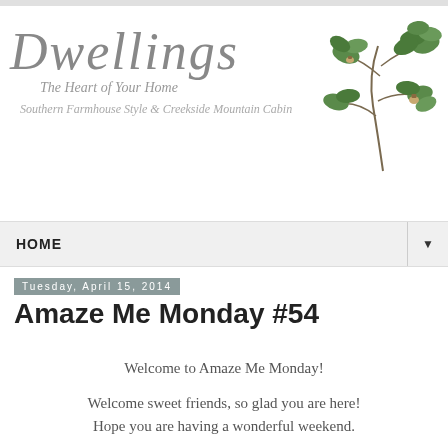[Figure (logo): Dwellings blog logo with script font text 'Dwellings', subtitle 'The Heart of Your Home', tagline 'Southern Farmhouse Style & Creekside Mountain Cabin', and a botanical oak branch illustration on the right]
HOME ▼
Tuesday, April 15, 2014
Amaze Me Monday #54
Welcome to Amaze Me Monday!
Welcome sweet friends, so glad you are here! Hope you are having a wonderful weekend.